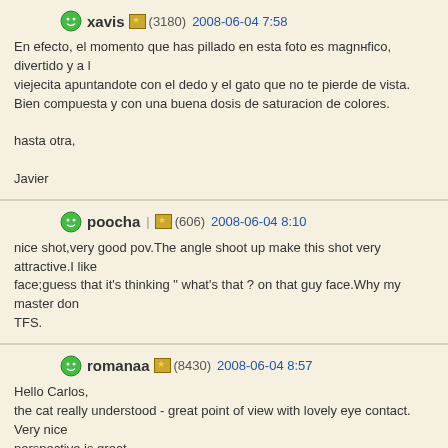xavis (3180) 2008-06-04 7:58
En efecto, el momento que has pillado en esta foto es magnнfico, divertido y a la viejecita apuntandote con el dedo y el gato que no te pierde de vista.
Bien compuesta y con una buena dosis de saturacion de colores.

hasta otra,

Javier
poocha (606) 2008-06-04 8:10
nice shot,very good pov.The angle shoot up make this shot very attractive.I like face;guess that it's thinking " what's that ? on that guy face.Why my master don TFS.
romanaa (8430) 2008-06-04 8:57
Hello Carlos,
the cat really understood - great point of view with lovely eye contact. Very nice perspective is great.
Best regards
Romana